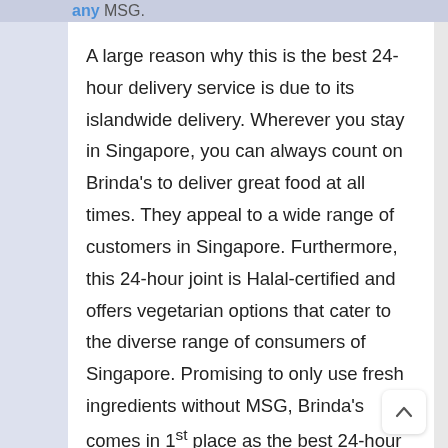any MSG.
A large reason why this is the best 24-hour delivery service is due to its islandwide delivery. Wherever you stay in Singapore, you can always count on Brinda's to deliver great food at all times. They appeal to a wide range of customers in Singapore. Furthermore, this 24-hour joint is Halal-certified and offers vegetarian options that cater to the diverse range of consumers of Singapore. Promising to only use fresh ingredients without MSG, Brinda's comes in 1st place as the best 24-hour food delivery services in Singapore.